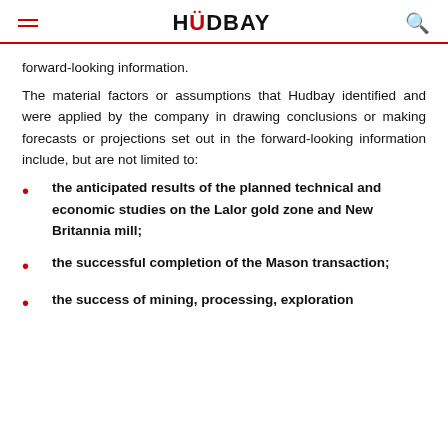HUDBAY
forward-looking information.
The material factors or assumptions that Hudbay identified and were applied by the company in drawing conclusions or making forecasts or projections set out in the forward-looking information include, but are not limited to:
the anticipated results of the planned technical and economic studies on the Lalor gold zone and New Britannia mill;
the successful completion of the Mason transaction;
the success of mining, processing, exploration and development activities;